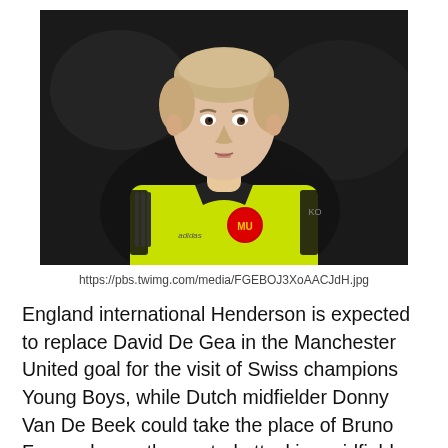[Figure (photo): A young man wearing a fluorescent yellow-green Manchester United goalkeeper kit with black collar and Adidas branding, standing on a football pitch with a dark blurred background.]
https://pbs.twimg.com/media/FGEBOJ3XoAACJdH.jpg
England international Henderson is expected to replace David De Gea in the Manchester United goal for the visit of Swiss champions Young Boys, while Dutch midfielder Donny Van De Beek could take the place of Bruno Fernandez as the central attacking midfielder in the team as the Manchester United boss